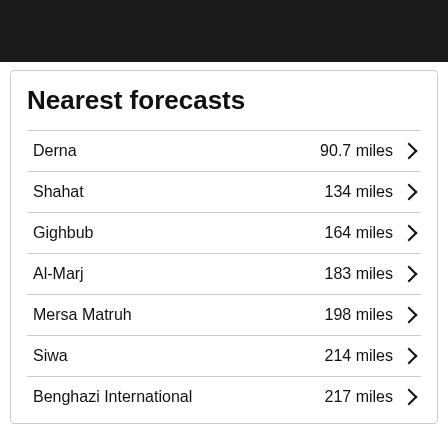[Figure (other): Dark header bar at top of page]
Nearest forecasts
Derna  90.7 miles
Shahat  134 miles
Gighbub  164 miles
Al-Marj  183 miles
Mersa Matruh  198 miles
Siwa  214 miles
Benghazi International  217 miles